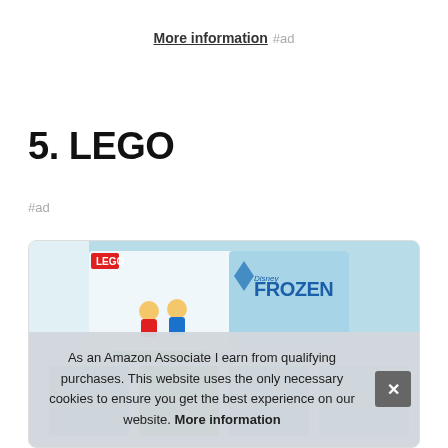More information #ad
5. LEGO
#ad
[Figure (photo): LEGO Disney Frozen product box image inside a card]
As an Amazon Associate I earn from qualifying purchases. This website uses the only necessary cookies to ensure you get the best experience on our website. More information